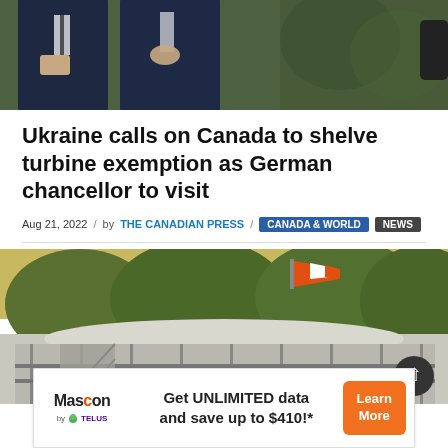[Figure (photo): Two men in dark suits standing outdoors in a field, one holding papers]
Ukraine calls on Canada to shelve turbine exemption as German chancellor to visit
Aug 21, 2022 / by THE CANADIAN PRESS / CANADA & WORLD NEWS
[Figure (photo): Industrial facility with metal scaffolding/walkways and a windsock visible above trees]
[Figure (infographic): Mascon by TELUS advertisement: Get UNLIMITED data and save up to $410!* Learn More]